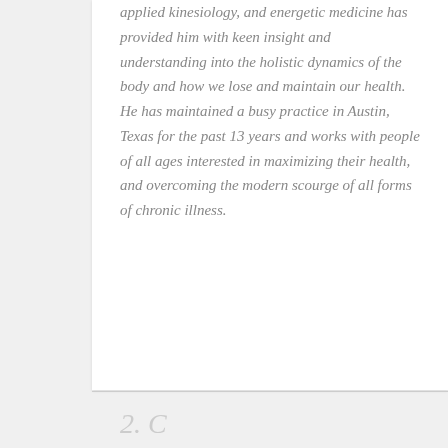applied kinesiology, and energetic medicine has provided him with keen insight and understanding into the holistic dynamics of the body and how we lose and maintain our health.  He has maintained a busy practice in Austin, Texas for the past 13 years and works with people of all ages interested in maximizing their health, and overcoming the modern scourge of all forms of chronic illness.